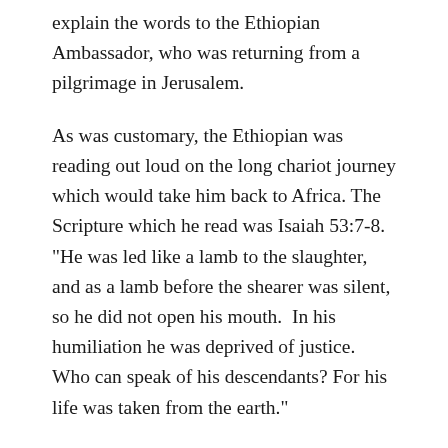explain the words to the Ethiopian Ambassador, who was returning from a pilgrimage in Jerusalem.
As was customary, the Ethiopian was reading out loud on the long chariot journey which would take him back to Africa. The Scripture which he read was Isaiah 53:7-8. "He was led like a lamb to the slaughter, and as a lamb before the shearer was silent, so he did not open his mouth.  In his humiliation he was deprived of justice.  Who can speak of his descendants? For his life was taken from the earth."
Drawing near to the chariot, Philip asked if the reader understood what he was reading. But how could he, without an interpreter? So the traveller asked Philip to join him on the chariot, making the most of the opportunity to tap into the preacher's expertise. This encounter changed